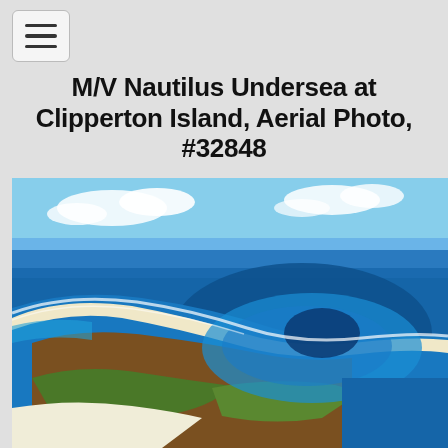☰
M/V Nautilus Undersea at Clipperton Island, Aerial Photo, #32848
[Figure (photo): Aerial photograph of Clipperton Island showing the atoll's distinctive curved sandbar and lagoon from above, with vivid blue ocean water surrounding white sand beaches, and the interior lagoon visible, taken from a high altitude showing the sweep of the island's crescent shape against deep blue Pacific Ocean waters and blue sky with clouds.]